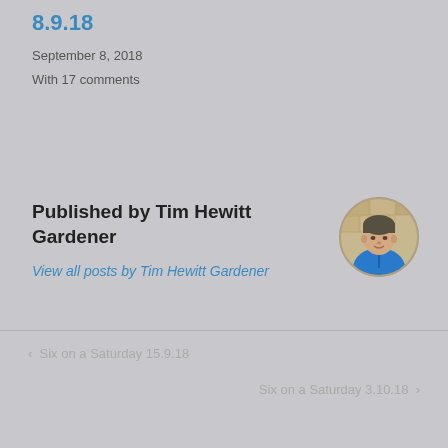8.9.18
September 8, 2018
With 17 comments
Published by Tim Hewitt Gardener
View all posts by Tim Hewitt Gardener
[Figure (photo): Circular avatar photo of Tim Hewitt Gardener, a man in a blue jacket, set against a stone wall background]
‹  Six on a Saturday 15.9.18
Six on a Saturday 3.10.18  ›